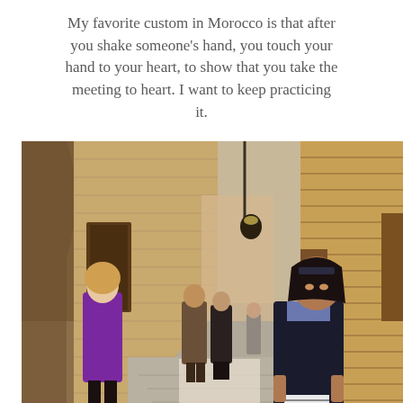My favorite custom in Morocco is that after you shake someone's hand, you touch your hand to your heart, to show that you take the meeting to heart. I want to keep practicing it.
[Figure (photo): A narrow alleyway in Morocco with terracotta-colored brick walls. A young woman in a dark jacket smiles at the camera on the right side. On the left, a woman in a purple hijab and coat walks. In the middle background, people walk down the alley. A street lamp hangs overhead.]